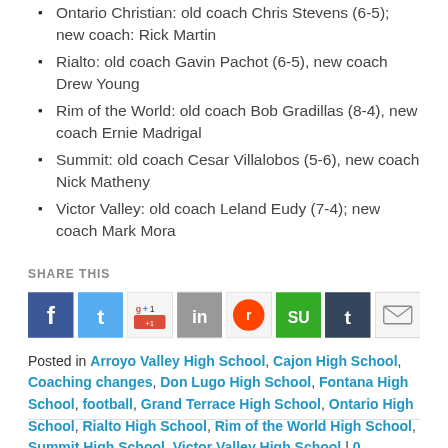Ontario Christian: old coach Chris Stevens (6-5); new coach: Rick Martin
Rialto: old coach Gavin Pachot (6-5), new coach Drew Young
Rim of the World: old coach Bob Gradillas (8-4), new coach Ernie Madrigal
Summit: old coach Cesar Villalobos (5-6), new coach Nick Matheny
Victor Valley: old coach Leland Eudy (7-4); new coach Mark Mora
SHARE THIS
[Figure (infographic): Social sharing icons: Facebook, Twitter, Google+1, LinkedIn, Reddit, StumbleUpon, Tumblr, Email]
Posted in Arroyo Valley High School, Cajon High School, Coaching changes, Don Lugo High School, Fontana High School, football, Grand Terrace High School, Ontario High School, Rialto High School, Rim of the World High School, Summit High School, Victor Valley High School | 0 Comments